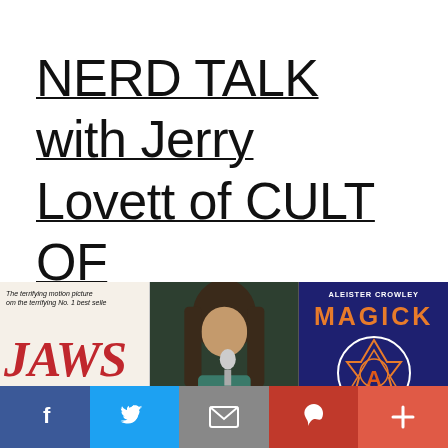NERD TALK with Jerry Lovett of CULT OF SORROW
[Figure (photo): Three images side by side: JAWS movie book cover on left, a long-haired man singing into a microphone in the middle, and Aleister Crowley's MAGICK book cover on the right]
[Figure (infographic): Social media share bar with Facebook, Twitter, Email, Pinterest, and More buttons]